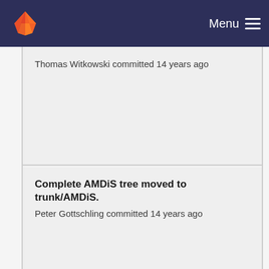Menu
Thomas Witkowski committed 14 years ago
Complete AMDiS tree moved to trunk/AMDiS.
Peter Gottschling committed 14 years ago